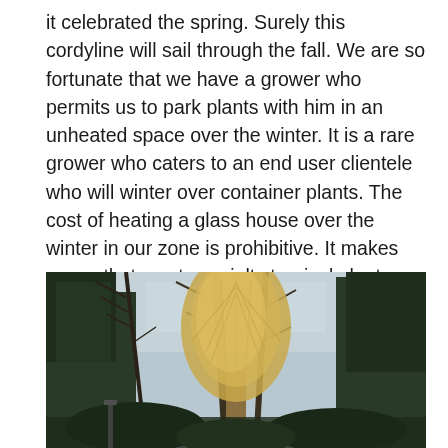it celebrated the spring. Surely this cordyline will sail through the fall. We are so fortunate that we have a grower who permits us to park plants with him in an unheated space over the winter. It is a rare grower who caters to an end user clientele who will winter over container plants. The cost of heating a glass house over the winter in our zone is prohibitive. It makes sense that most specialty tropical plants that are better than a year old are grown in parts of the US that do not experience temperatures below freezing. Many of the large tropical plants we see available are grown in Florida.
[Figure (photo): Outdoor winter scene showing bare-branched trees and a large ornamental grass or dried plant with feathery plumes in the center, surrounded by conifer trees in the background.]